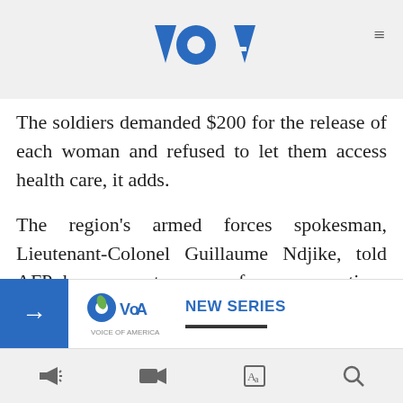VOA
The soldiers demanded $200 for the release of each woman and refused to let them access health care, it adds.
The region's armed forces spokesman, Lieutenant-Colonel Guillaume Ndjike, told AFP he was not aware of any accusations against the regiment.
"If necessary, they will respond [to any claims] ... it's not a problem."
Several sources said the 3410e regiment left Masisi earlier this month, which
[Figure (screenshot): Blue banner advertisement with right arrow, VOA logo, and NEW SERIES text]
Toolbar icons: speaker, video camera, translate, search